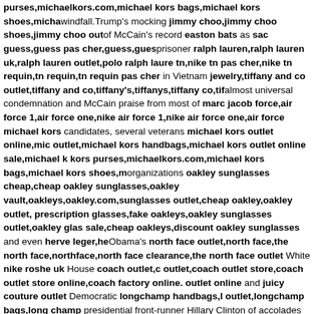purses,michaelkors.com,michael kors bags,michael kors shoes,micha windfall.Trump's mocking jimmy choo,jimmy choo shoes,jimmy choo out of McCain's record easton bats as sac guess,guess pas cher,guess,gues prisoner ralph lauren,ralph lauren uk,ralph lauren outlet,polo ralph laure tn,nike tn pas cher,nike tn requin,tn requin,tn requin pas cher in Vietnam jewelry,tiffany and co outlet,tiffany and co,tiffany's,tiffanys,tiffany co,tif almost universal condemnation and McCain praise from most of marc jacob force,air force 1,air force one,nike air force 1,nike air force one,air force michael kors candidates, several veterans michael kors outlet online,mic outlet,michael kors handbags,michael kors outlet online sale,michael k kors purses,michaelkors.com,michael kors bags,michael kors shoes,m organizations oakley sunglasses cheap,cheap oakley sunglasses,oakley vault,oakleys,oakley.com,sunglasses outlet,cheap oakley,oakley outlet, prescription glasses,fake oakleys,oakley sunglasses outlet,oakley glas sale,cheap oakleys,discount oakley sunglasses and even herve leger,he Obama's north face outlet,north face,the north face,northface,north face clearance,the north face outlet White nike roshe uk House coach outlet,c outlet,coach outlet store,coach outlet store online,coach factory online. outlet online and juicy couture outlet Democratic longchamp handbags,l outlet,longchamp bags,long champ presidential front-runner Hillary Clinton of accolades hailing nike free,free running,nike free run,nike free 5.0,free free trainer,nike free trainer 5.0,free runs,free run 5.0 McCain as a socce jersey,football jerseys "hero" michael kors outlet,michael kors outlet onl outlet,michael kors handbags,michael kors outlet online sale,michael k